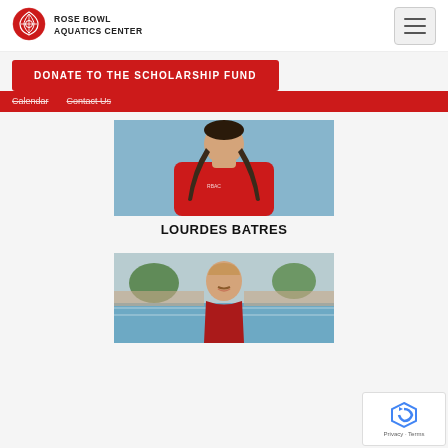Rose Bowl Aquatics Center
DONATE TO THE SCHOLARSHIP FUND
Calendar   Contact Us
[Figure (photo): Photo of Lourdes Batres wearing a red sweatshirt with braids, standing in front of a pool]
LOURDES BATRES
[Figure (photo): Photo of a bald/balding man smiling, standing in front of a swimming pool with spectators in background]